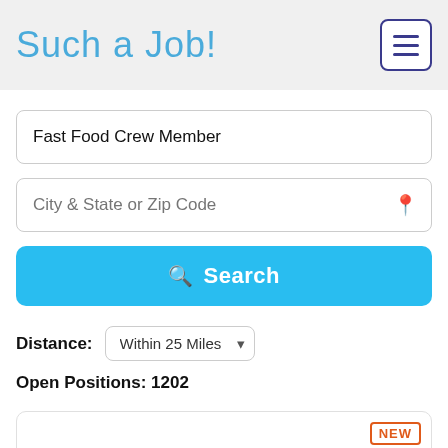Such a Job!
Fast Food Crew Member
City & State or Zip Code
Search
Distance: Within 25 Miles
Open Positions: 1202
NEW